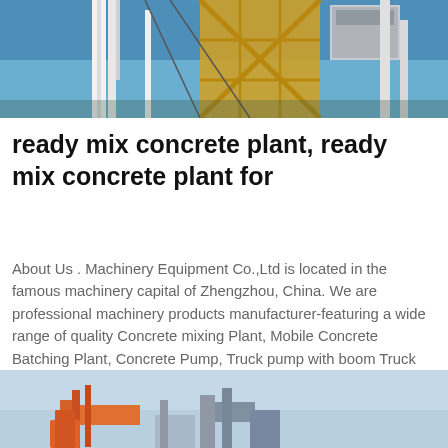[Figure (photo): Construction crane and industrial machinery structure with yellow metal framework against blue sky, top portion of page]
ready mix concrete plant, ready mix concrete plant for
About Us . Machinery Equipment Co.,Ltd is located in the famous machinery capital of Zhengzhou, China. We are professional machinery products manufacturer-featuring a wide range of quality Concrete mixing Plant, Mobile Concrete Batching Plant, Concrete Pump, Truck pump with boom Truck mixer, etc.We adhere to the policy of "QUALITY FIRST AND INTEGRITY WINS"to cooperate with clients from
LEARN MORE
[Figure (photo): Industrial concrete batching plant equipment against light blue sky, bottom portion of page]